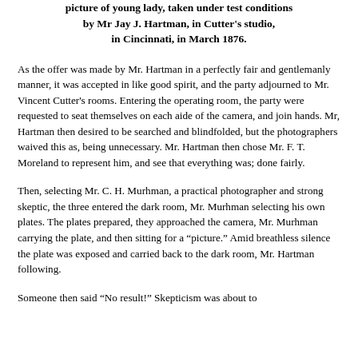picture of young lady, taken under test conditions by Mr Jay J. Hartman, in Cutter's studio, in Cincinnati, in March 1876.
As the offer was made by Mr. Hartman in a perfectly fair and gentlemanly manner, it was accepted in like good spirit, and the party adjourned to Mr. Vincent Cutter's rooms. Entering the operating room, the party were requested to seat themselves on each aide of the camera, and join hands. Mr, Hartman then desired to be searched and blindfolded, but the photographers waived this as, being unnecessary. Mr. Hartman then chose Mr. F. T. Moreland to represent him, and see that everything was; done fairly.
Then, selecting Mr. C. H. Murhman, a practical photographer and strong skeptic, the three entered the dark room, Mr. Murhman selecting his own plates. The plates prepared, they approached the camera, Mr. Murhman carrying the plate, and then sitting for a "picture." Amid breathless silence the plate was exposed and carried back to the dark room, Mr. Hartman following.
Someone then said "No result!" Skepticism was about to...